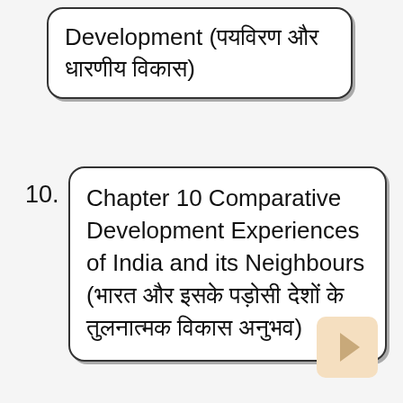Development (पयविरण और धारणीय विकास)
10. Chapter 10 Comparative Development Experiences of India and its Neighbours (भारत और इसके पड़ोसी देशों के तुलनात्मक विकास अनुभव)